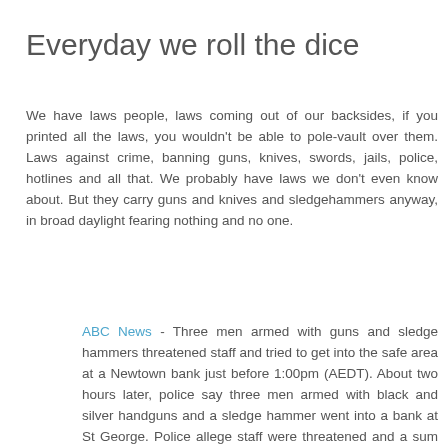Everyday we roll the dice
We have laws people, laws coming out of our backsides, if you printed all the laws, you wouldn't be able to pole-vault over them. Laws against crime, banning guns, knives, swords, jails, police, hotlines and all that. We probably have laws we don't even know about. But they carry guns and knives and sledgehammers anyway, in broad daylight fearing nothing and no one.
ABC News - Three men armed with guns and sledge hammers threatened staff and tried to get into the safe area at a Newtown bank just before 1:00pm (AEDT). About two hours later, police say three men armed with black and silver handguns and a sledge hammer went into a bank at St George. Police allege staff were threatened and a sum of cash was taken from the teller before the men left in a blue car. It is believed the car, described leaving the scene of both robberies, is